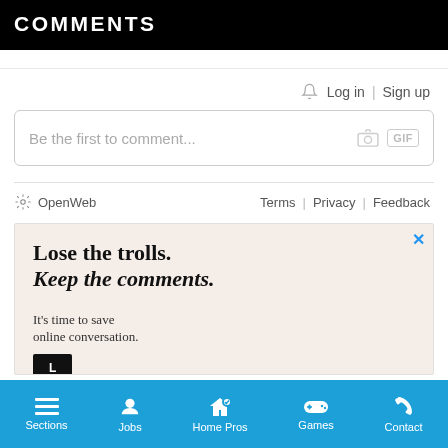COMMENTS
Log in | Sign up
Be the first to comment...
OpenWeb   Terms | Privacy | Feedback
[Figure (screenshot): Advertisement for OpenWeb: 'Lose the trolls. Keep the comments. It's time to save online conversation.' with a dark CTA button.]
Sections | Jobs | Home Pros | Games | Contact